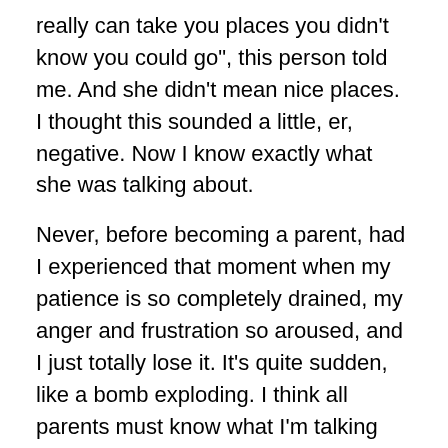really can take you places you didn't know you could go", this person told me. And she didn't mean nice places. I thought this sounded a little, er, negative. Now I know exactly what she was talking about.
Never, before becoming a parent, had I experienced that moment when my patience is so completely drained, my anger and frustration so aroused, and I just totally lose it. It's quite sudden, like a bomb exploding. I think all parents must know what I'm talking about – at least all the ones I've spoken to do, which is in some way reassuring.
So, what to do about it?
Prevention
When things go wrong, the plus side is that we can learn from them. What situation or set of circumstances led your